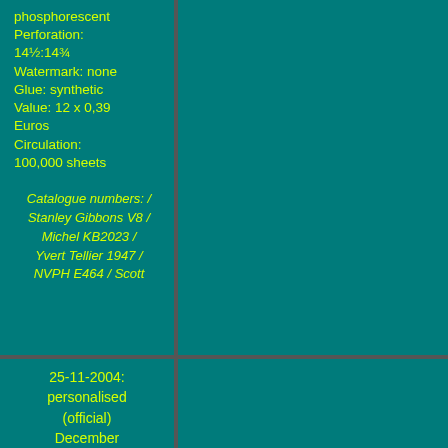phosphorescent
Perforation: 14½:14¾
Watermark: none
Glue: synthetic
Value: 12 x 0,39 Euros
Circulation: 100,000 sheets
Catalogue numbers: / Stanley Gibbons V8 / Michel KB2023 / Yvert Tellier 1947 / NVPH E464 / Scott
25-11-2004: personalised (official) December (Christmas) stamp